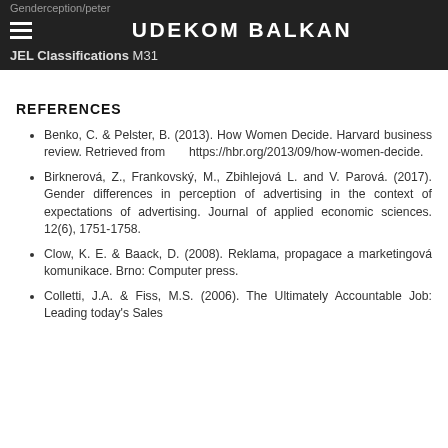UDEKOM BALKAN
JEL Classifications M31
REFERENCES
Benko, C. & Pelster, B. (2013). How Women Decide. Harvard business review. Retrieved from https://hbr.org/2013/09/how-women-decide.
Birknerová, Z., Frankovský, M., Zbihlejová L. and V. Parová. (2017). Gender differences in perception of advertising in the context of expectations of advertising. Journal of applied economic sciences. 12(6), 1751-1758.
Clow, K. E. & Baack, D. (2008). Reklama, propagace a marketingová komunikace. Brno: Computer press.
Colletti, J.A. & Fiss, M.S. (2006). The Ultimately Accountable Job: Leading today's Sales...